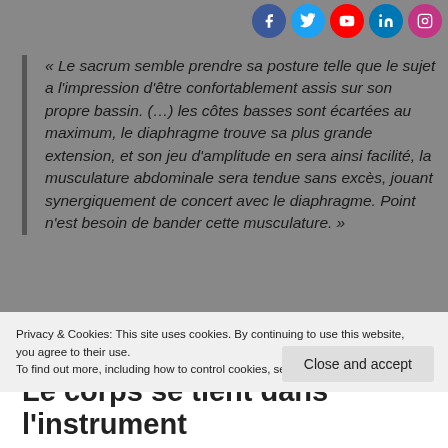[Figure (other): Social media icons: Facebook, Twitter, YouTube, LinkedIn, Instagram]
« Le sacrum semble prendre sa posture telle que le sujet a l'impression d'être confortablement assis sur son propre bassin. (…) les côtes basses sont écartées au maximum, le diaphragme trouve sa plus grande extension, et son jeu d'amplitude en sera ainsi facilité, la musculature abdominale sera tendue sans excès, jouant synergiquement de concert avec le diaphragme. Point n'est besoin de bander cette musculature. »
« (…) grâce à la posture d'écoute et d'auto-écoute, et grâce à la posture corporelle, le corps obéira afin de délivrer toutes les sensations proprioceptives qui président à la verticalité
Privacy & Cookies: This site uses cookies. By continuing to use this website, you agree to their use.
To find out more, including how to control cookies, see here: Cookie Policy
Close and accept
Le corps se tient dans l'instrument